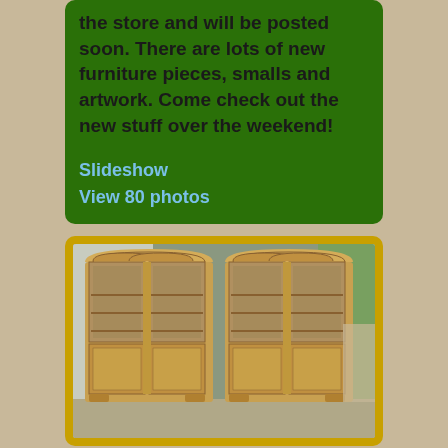the store and will be posted soon. There are lots of new furniture pieces, smalls and artwork. Come check out the new stuff over the weekend!
Slideshow
View 80 photos
[Figure (photo): Two matching wooden bookcases with glass doors on top and solid panel doors on the bottom, photographed outdoors]